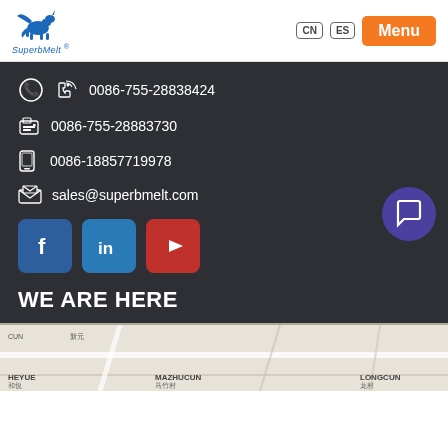SuperbMelt - CN ES - Menu
0086-755-28838424
0086-755-28883730
0086-18857719978
sales@superbmelt.com
[Figure (logo): Social media icons: Facebook, LinkedIn, YouTube]
WE ARE HERE
[Figure (map): Map showing location near Dakang Community, Heyue, Mazhucun, Longcun area]